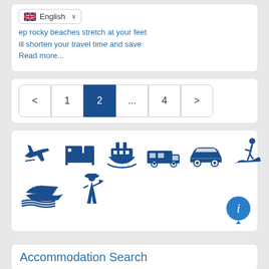...ep rocky beaches stretch at your feet...ill shorten your travel time and save Read more...
[Figure (screenshot): Pagination control showing pages: < 1 2 ... 4 >]
[Figure (infographic): Travel category icons: airplane, hotel bed, cruise ship, camper van, car, surfer, speedboat, tour guide]
Accommodation Search